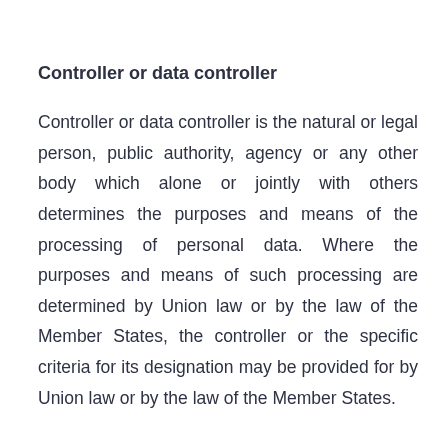Controller or data controller
Controller or data controller is the natural or legal person, public authority, agency or any other body which alone or jointly with others determines the purposes and means of the processing of personal data. Where the purposes and means of such processing are determined by Union law or by the law of the Member States, the controller or the specific criteria for its designation may be provided for by Union law or by the law of the Member States.